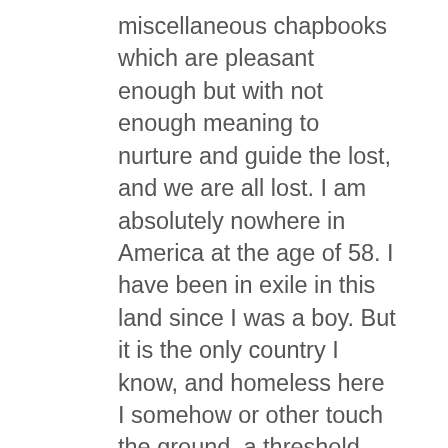miscellaneous chapbooks which are pleasant enough but with not enough meaning to nurture and guide the lost, and we are all lost. I am absolutely nowhere in America at the age of 58. I have been in exile in this land since I was a boy. But it is the only country I know, and homeless here I somehow or other touch the ground, a threshold, and a few people who are my kindred even if they don't recognize it. . . . .
	I would, if my suggestions do not irk you, because you know how to print and bind a book with great taste, and I don't know anything about either, bring out books that do not simper or are not eccentric. When one is a poet he does not have to try to look like one. The enemy recognizes him even in the gray, deathlike double-breasted suit. All a poet nowadays has to do is to open his mouth to sow dragon's teeth, and so it is not essential that he dress like one, or that you clothe a book with upside-down photographs. Let us try to be as simple and plain as we can about what we feel. Were you a parcel